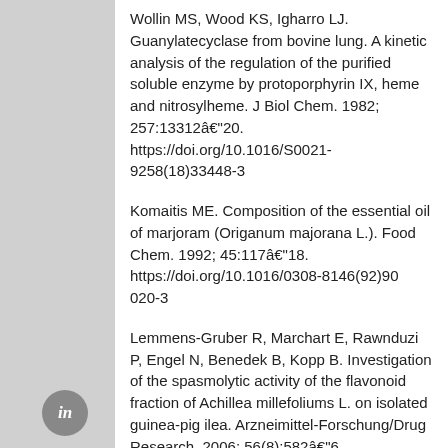Wollin MS, Wood KS, Igharro LJ. Guanylatecyclase from bovine lung. A kinetic analysis of the regulation of the purified soluble enzyme by protoporphyrin IX, heme and nitrosylheme. J Biol Chem. 1982; 257:13312–20. https://doi.org/10.1016/S0021-9258(18)33448-3
Komaitis ME. Composition of the essential oil of marjoram (Origanum majorana L.). Food Chem. 1992; 45:117–18. https://doi.org/10.1016/0308-8146(92)90 020-3
Lemmens-Gruber R, Marchart E, Rawnduzi P, Engel N, Benedek B, Kopp B. Investigation of the spasmolytic activity of the flavonoid fraction of Achillea millefoliums L. on isolated guinea-pig ilea. Arzneimittel-Forschung/Drug Research. 2006; 56(8):582–6. https://doi.org/10.1055/s-0031-1296755. PMid:17009839